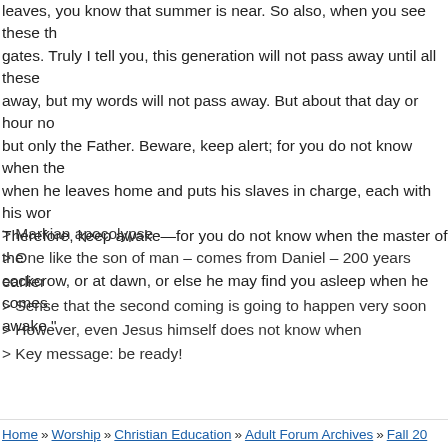leaves, you know that summer is near. So also, when you see these things happening, know that he is near, at the very gates. Truly I tell you, this generation will not pass away until all these things have taken place. Heaven and earth will pass away, but my words will not pass away. But about that day or hour no one knows, not even the angels in heaven, nor the Son, but only the Father. Beware, keep alert; for you do not know when the time will come. It is like a man going on a journey, when he leaves home and puts his slaves in charge, each with his work, and commands the doorkeeper to be on the watch. Therefore, keep awake—for you do not know when the master of the house will come, in the evening, or at midnight, or at cockcrow, or at dawn, or else he may find you asleep when he comes suddenly. And what I say to you I say to all: Keep awake."
> Markian apocolypse
> One like the son of man – comes from Daniel – 200 years earlier
> Sense that the second coming is going to happen very soon
> However, even Jesus himself does not know when
> Key message: be ready!
Home » Worship » Christian Education » Adult Forum Archives » Fall 20